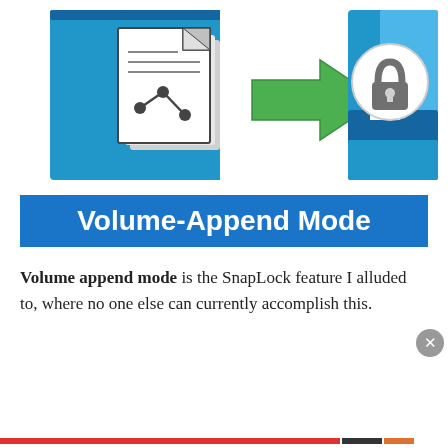[Figure (illustration): Illustration showing documents with a graph icon on a blue background, a green arrow pointing right, and a padlock icon on a blue box/folder — representing Volume-Append Mode in SnapLock.]
Volume-Append Mode
Volume append mode is the SnapLock feature I alluded to, where no one else can currently accomplish this.
Privacy & Cookies: This site uses cookies. By continuing to use this website, you agree to their use.
To find out more, including how to control cookies, see here: Cookie Policy
Close and accept